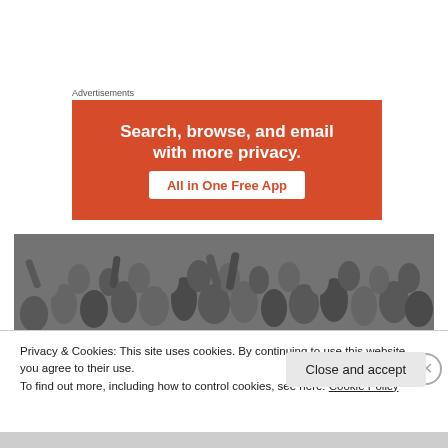Advertisements
[Figure (illustration): Orange advertisement banner reading 'Search, browse, and email with more privacy. All in One Free App']
[Figure (photo): Black and white photo of a large crowd of people]
Privacy & Cookies: This site uses cookies. By continuing to use this website, you agree to their use.
To find out more, including how to control cookies, see here: Cookie Policy